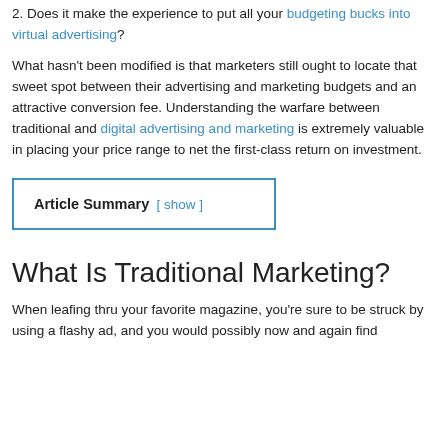2. Does it make the experience to put all your budgeting bucks into virtual advertising?
What hasn't been modified is that marketers still ought to locate that sweet spot between their advertising and marketing budgets and an attractive conversion fee. Understanding the warfare between traditional and digital advertising and marketing is extremely valuable in placing your price range to net the first-class return on investment.
Article Summary [ show ]
What Is Traditional Marketing?
When leafing thru your favorite magazine, you're sure to be struck by using a flashy ad, and you would possibly now and again find